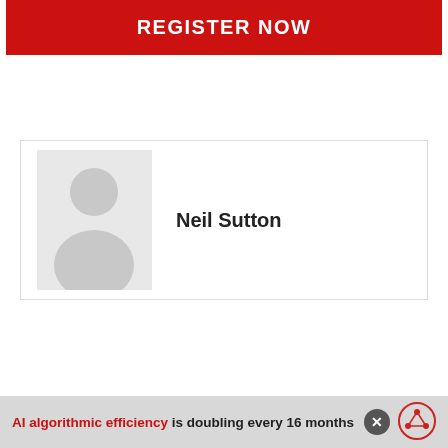REGISTER NOW
[Figure (illustration): Profile card with silhouette avatar placeholder and name Neil Sutton]
Neil Sutton
AI algorithmic efficiency is doubling every 16 months